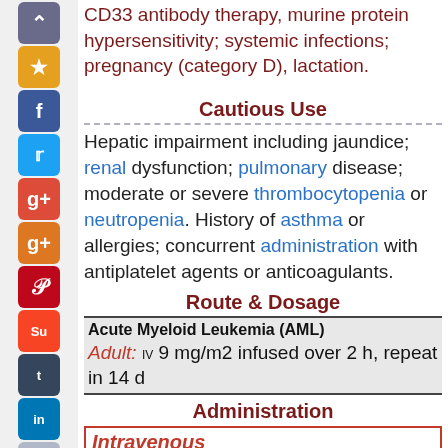CD33 antibody therapy, murine protein hypersensitivity; systemic infections; pregnancy (category D), lactation.
Cautious Use
Hepatic impairment including jaundice; renal dysfunction; pulmonary disease; moderate or severe thrombocytopenia or neutropenia. History of asthma or allergies; concurrent administration with antiplatelet agents or anticoagulants.
Route & Dosage
| Acute Myeloid Leukemia (AML) | Adult: IV 9 mg/m2 infused over 2 h, repeat in 14 d |
Administration
Intravenous